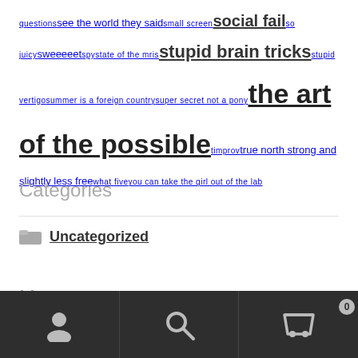questions see the world they said small screen social fail so juicy sweeeeet spy state of the mris stupid brain tricks stupid vertigo summer is a foreign country super secret not a pony the art of the possible timprov true north strong and slightly less free what five you can take the girl out of the lab
Categories
Uncategorized
Meta